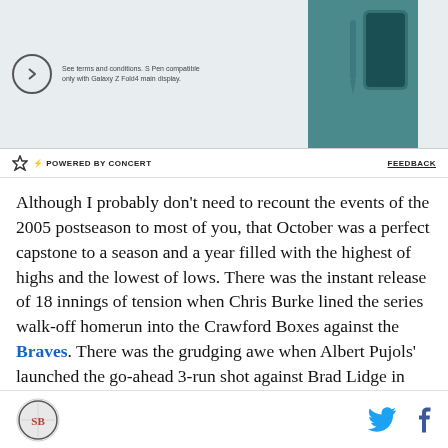[Figure (screenshot): Advertisement banner for Samsung Galaxy Z Fold4 with S Pen, showing a circular play/next button, small fine-print text, and an image of the device on a teal background]
⚡ POWERED BY CONCERT    FEEDBACK
Although I probably don't need to recount the events of the 2005 postseason to most of you, that October was a perfect capstone to a season and a year filled with the highest of highs and the lowest of lows. There was the instant release of 18 innings of tension when Chris Burke lined the series walk-off homerun into the Crawford Boxes against the Braves. There was the grudging awe when Albert Pujols' launched the go-ahead 3-run shot against Brad Lidge in game 5 of the NLCS and the exhilaration when the Astros finally slew
SB Nation logo | Twitter icon | Facebook icon